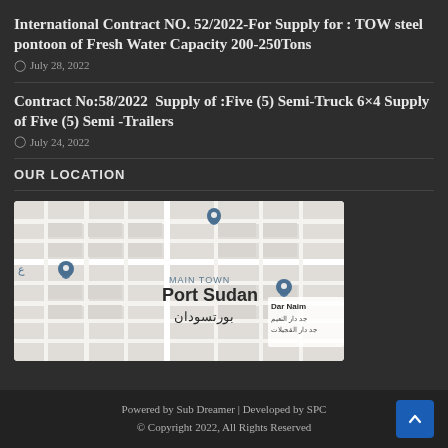International Contract NO. 52/2022-For Supply for : TOW steel pontoon of Fresh Water Capacity 200-250Tons
July 28, 2022
Contract No:58/2022  Supply of :Five (5) Semi-Truck 6×4 Supply of Five (5) Semi -Trailers
July 24, 2022
OUR LOCATION
[Figure (map): Street map showing Port Sudan / بورتسودان area with location pins. Shows MAIN TOWN Port Sudan label, and Dar Naim area with Arabic text.]
Powered by Sub Dreamer | Developed by SPC
© Copyright 2022, All Rights Reserved